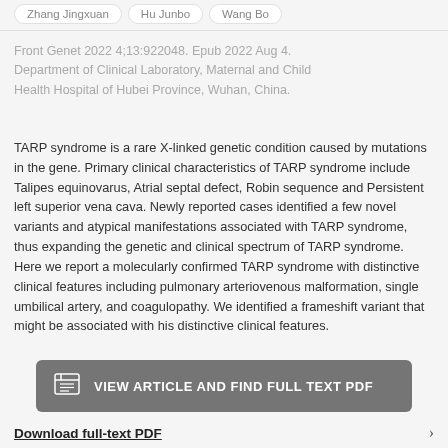Zhang Jingxuan   Hu Junbo   Wang Bo
Front Genet 2022 4;13:922048. Epub 2022 Aug 4. Department of Clinical Laboratory, Maternal and Child Health Hospital of Hubei Province, Wuhan, China.
TARP syndrome is a rare X-linked genetic condition caused by mutations in the gene. Primary clinical characteristics of TARP syndrome include Talipes equinovarus, Atrial septal defect, Robin sequence and Persistent left superior vena cava. Newly reported cases identified a few novel variants and atypical manifestations associated with TARP syndrome, thus expanding the genetic and clinical spectrum of TARP syndrome. Here we report a molecularly confirmed TARP syndrome with distinctive clinical features including pulmonary arteriovenous malformation, single umbilical artery, and coagulopathy. We identified a frameshift variant that might be associated with his distinctive clinical features.
VIEW ARTICLE AND FIND FULL TEXT PDF
Download full-text PDF